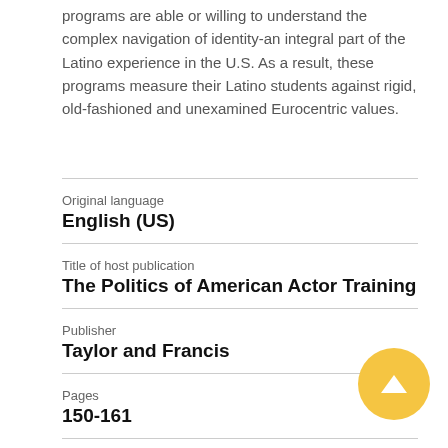programs are able or willing to understand the complex navigation of identity-an integral part of the Latino experience in the U.S. As a result, these programs measure their Latino students against rigid, old-fashioned and unexamined Eurocentric values.
| Original language | English (US) |
| Title of host publication | The Politics of American Actor Training |
| Publisher | Taylor and Francis |
| Pages | 150-161 |
| Number of pages | 12 |
| ISBN (Electronic) |  |